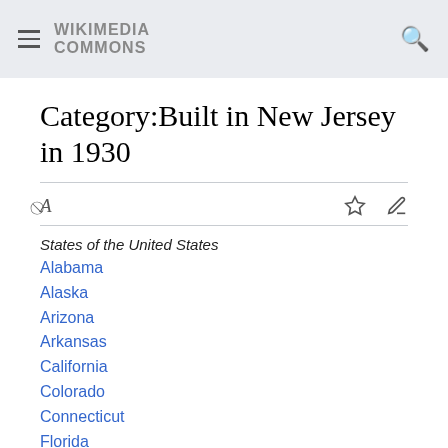WIKIMEDIA COMMONS
Category:Built in New Jersey in 1930
States of the United States
Alabama
Alaska
Arizona
Arkansas
California
Colorado
Connecticut
Florida
Georgia
Hawaii
Idaho
Illinois
Indiana
Iowa
Kansas
Kentucky